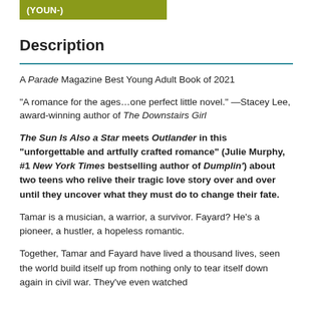(YOUN-)
Description
A Parade Magazine Best Young Adult Book of 2021
“A romance for the ages…one perfect little novel.” —Stacey Lee, award-winning author of The Downstairs Girl
The Sun Is Also a Star meets Outlander in this “unforgettable and artfully crafted romance” (Julie Murphy, #1 New York Times bestselling author of Dumplin’) about two teens who relive their tragic love story over and over until they uncover what they must do to change their fate.
Tamar is a musician, a warrior, a survivor. Fayard? He’s a pioneer, a hustler, a hopeless romantic.
Together, Tamar and Fayard have lived a thousand lives, seen the world build itself up from nothing only to tear itself down again in civil war. They’ve even watched